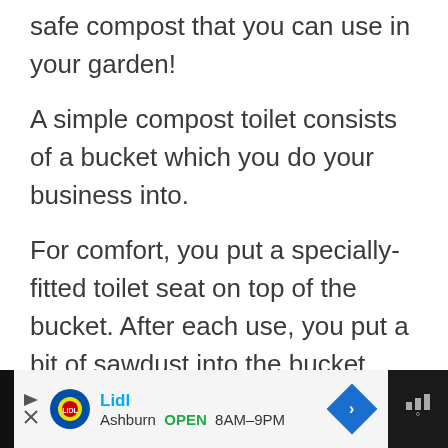safe compost that you can use in your garden!
A simple compost toilet consists of a bucket which you do your business into.
For comfort, you put a specially-fitted toilet seat on top of the bucket. After each use, you put a bit of sawdust into the bucket.  When the bucket is full, you put the toilet seat on a new,
[Figure (screenshot): Advertisement bar for Lidl showing logo, brand name in cyan, Ashburn location, OPEN status in green, hours 8AM-9PM, a blue diamond arrow icon, and weather bars on dark background.]